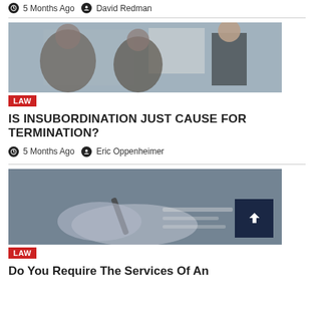5 Months Ago  David Redman
[Figure (photo): Business meeting scene: a woman in a blazer gestures at a whiteboard while two men listen; another person holds papers.]
LAW
IS INSUBORDINATION JUST CAUSE FOR TERMINATION?
5 Months Ago  Eric Oppenheimer
[Figure (photo): Close-up of a hand holding a pen, writing or signing a document, blurred background.]
LAW
Do You Require The Services Of An